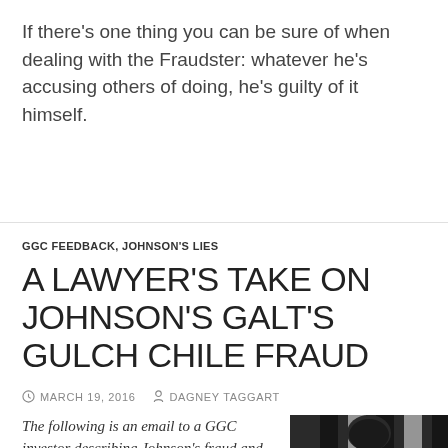If there's one thing you can be sure of when dealing with the Fraudster: whatever he's accusing others of doing, he's guilty of it himself.
GGC FEEDBACK, JOHNSON'S LIES
A LAWYER'S TAKE ON JOHNSON'S GALT'S GULCH CHILE FRAUD
MARCH 19, 2016   DAGNEY TAGGART
The following is an email to a GGC investor describing Johnson's fraud and incompetence around establishing the original entitle…
[Figure (photo): Black and white photo of a person in black and white striped clothing, partially visible at bottom right of page]